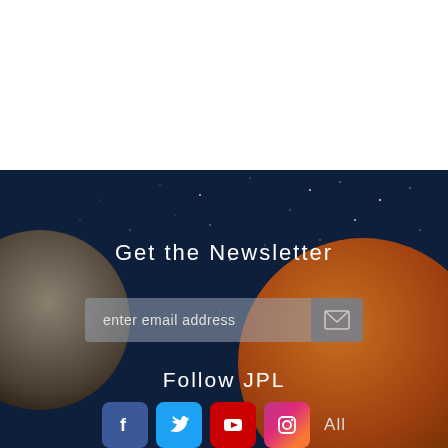[Figure (illustration): Space background with starfield, a gray-brown cratered moon/planet on the left, and an orange planet on the bottom right]
Get the Newsletter
enter email address
Follow JPL
[Figure (infographic): Social media icon buttons: Facebook (blue), Twitter (light blue), YouTube (red), Instagram (pink/red gradient), and All text link]